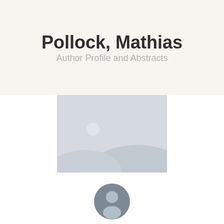Pollock, Mathias
Author Profile and Abstracts
[Figure (photo): Placeholder image with grey background showing a generic landscape/image placeholder icon with hills and a circle (sun).]
[Figure (illustration): Grey circular user/person avatar icon.]